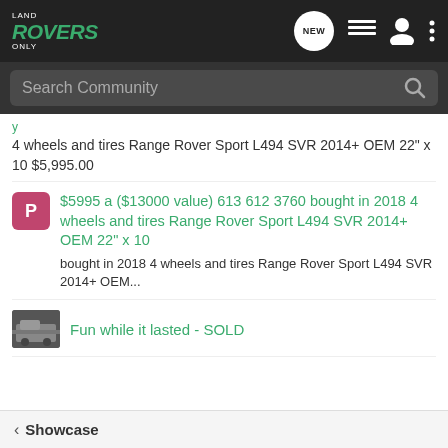Land Rovers Only
Search Community
4 wheels and tires Range Rover Sport L494 SVR 2014+ OEM 22" x 10 $5,995.00
$5995 a ($13000 value) 613 612 3760 bought in 2018 4 wheels and tires Range Rover Sport L494 SVR 2014+ OEM 22" x 10
bought in 2018 4 wheels and tires Range Rover Sport L494 SVR 2014+ OEM...
Fun while it lasted - SOLD
Showcase